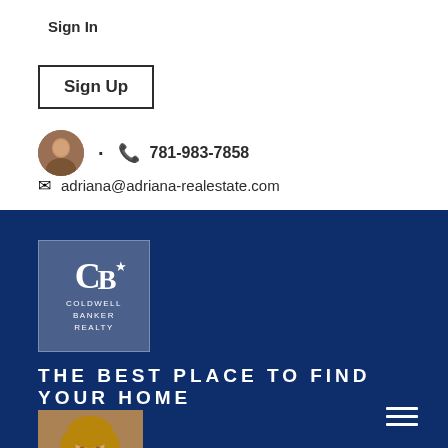Sign In
Sign Up
781-983-7858
adriana@adriana-realestate.com
[Figure (logo): Coldwell Banker Realty logo on dark navy background]
THE BEST PLACE TO FIND YOUR HOME
[Figure (photo): Agent headshot photo on navy background]